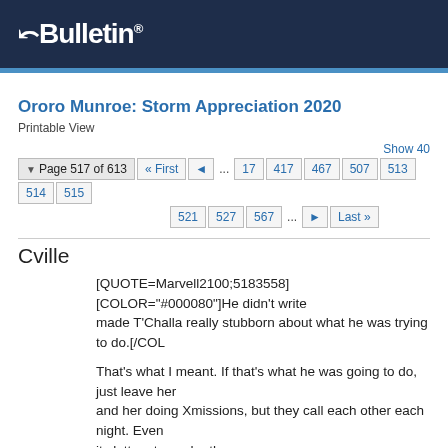vBulletin
Ororo Munroe: Storm Appreciation 2020
Printable View
Show 40 ... Page 517 of 613 First ... 17 417 467 507 513 514 515 521 527 567 ... Last
Cville
[QUOTE=Marvell2100;5183558][COLOR="#000080"]He didn't write made T'Challa really stubborn about what he was trying to do.[/COL

That's what I meant. If that's what he was going to do, just leave her and her doing Xmissions, but they call each other each night. Even its letters to each other.
jwatson